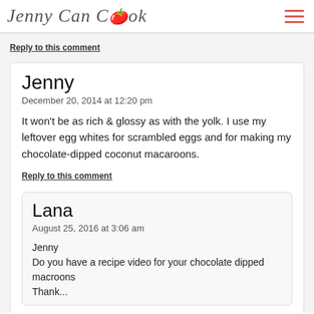Jenny Can Cook
Reply to this comment
Jenny
December 20, 2014 at 12:20 pm

It won't be as rich & glossy as with the yolk. I use my leftover egg whites for scrambled eggs and for making my chocolate-dipped coconut macaroons.
Reply to this comment
Lana
August 25, 2016 at 3:06 am

Jenny
Do you have a recipe video for your chocolate dipped macroons
Thank...